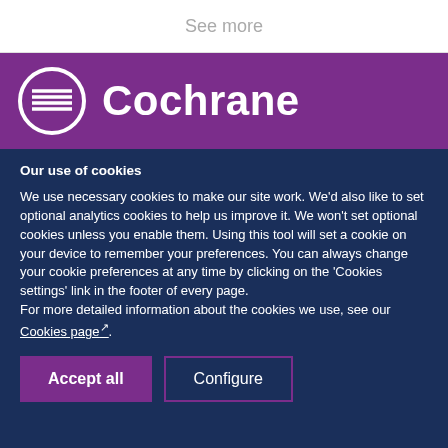See more
[Figure (logo): Cochrane logo: circular icon with horizontal lines and the word Cochrane in white bold text on purple background]
Our use of cookies
We use necessary cookies to make our site work. We'd also like to set optional analytics cookies to help us improve it. We won't set optional cookies unless you enable them. Using this tool will set a cookie on your device to remember your preferences. You can always change your cookie preferences at any time by clicking on the 'Cookies settings' link in the footer of every page.
For more detailed information about the cookies we use, see our Cookies page.